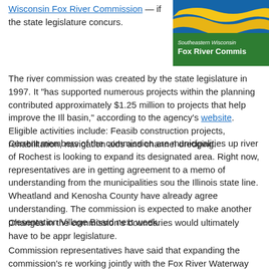Wisconsin Fox River Commission — if the state legislature concurs.
[Figure (logo): Southeastern Wisconsin Fox River Commission logo with blue and yellow wave design]
The river commission was created by the state legislature in 1997. It "has supported numerous projects within the planning contributed approximately $1.25 million to projects that help improve the Ill basin," according to the agency's website. Eligible activities include: Feasib construction projects, rehabilitation, navigation aids and channel dredging.
Current members of the commission are municipalities up river of Rochest is looking to expand its designated area. Right now, representatives are in getting agreement to a memo of understanding from the municipalities sou the Illinois state line. Wheatland and Kenosha County have already agree understanding. The commission is expected to make another presentation Village Board next week.
Changes in the commission's boundaries would ultimately have to be appr legislature.
Commission representatives have said that expanding the commission's re working jointly with the Fox River Waterway there could lead to being able funds. In the past, the commission's activities have been funded almost en